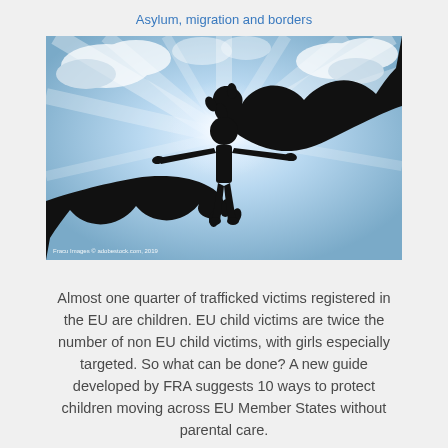Asylum, migration and borders
[Figure (photo): Silhouette of a child standing with arms outstretched between two large adult hands forming a protective cup shape, against a bright sky with light rays, symbolizing child protection.]
Fracu Images © adobestock.com, 2019
Almost one quarter of trafficked victims registered in the EU are children. EU child victims are twice the number of non EU child victims, with girls especially targeted. So what can be done? A new guide developed by FRA suggests 10 ways to protect children moving across EU Member States without parental care.